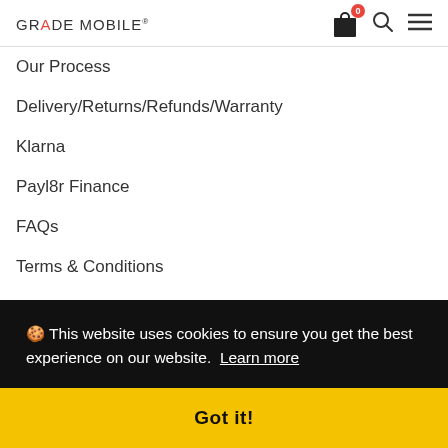GRADE MOBILE®
Our Process
Delivery/Returns/Refunds/Warranty
Klarna
Payl8r Finance
FAQs
Terms & Conditions
Bus...
Re...
Co...
Mo...
CONTACT
Mo...
(CLOSED)
[Figure (screenshot): Cookie consent overlay on the Grade Mobile website. Black background with text: '🍪 This website uses cookies to ensure you get the best experience on our website. Learn more'. Yellow button below with text: Got it!]